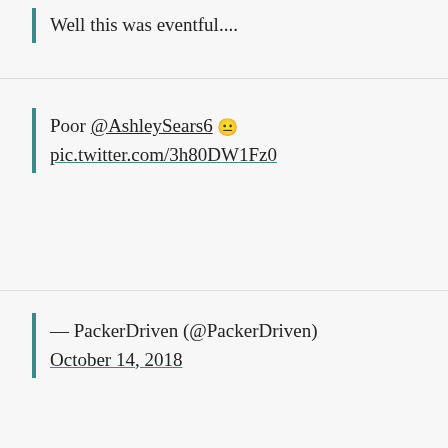Well this was eventful....
Poor @AshleySears6 😐 pic.twitter.com/3h80DW1Fz0
— PackerDriven (@PackerDriven) October 14, 2018